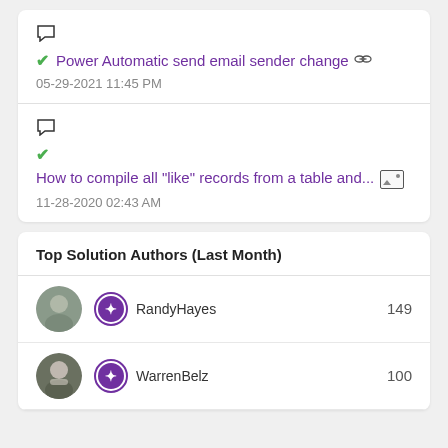Power Automatic send email sender change
How to compile all "like" records from a table and...
Top Solution Authors (Last Month)
RandyHayes 149
WarrenBelz 100